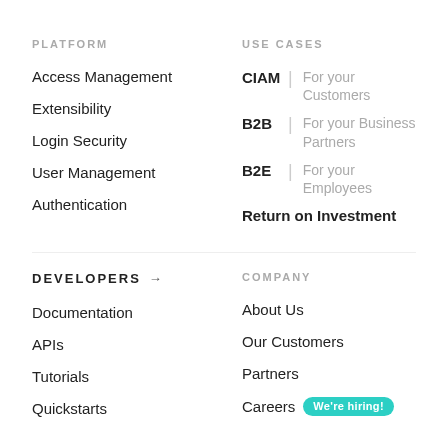PLATFORM
Access Management
Extensibility
Login Security
User Management
Authentication
USE CASES
CIAM | For your Customers
B2B | For your Business Partners
B2E | For your Employees
Return on Investment
DEVELOPERS →
Documentation
APIs
Tutorials
Quickstarts
COMPANY
About Us
Our Customers
Partners
Careers We're hiring!